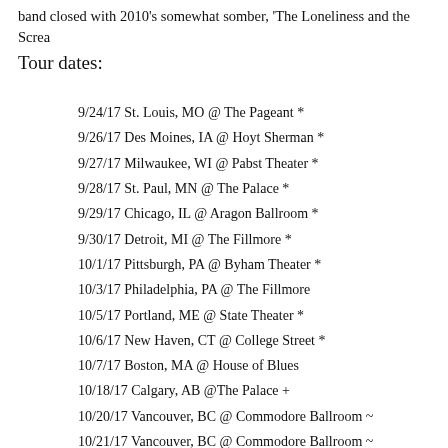band closed with 2010's somewhat somber, 'The Loneliness and the Screa
Tour dates:
9/24/17 St. Louis, MO @ The Pageant *
9/26/17 Des Moines, IA @ Hoyt Sherman *
9/27/17 Milwaukee, WI @ Pabst Theater *
9/28/17 St. Paul, MN @ The Palace *
9/29/17 Chicago, IL @ Aragon Ballroom *
9/30/17 Detroit, MI @ The Fillmore *
10/1/17 Pittsburgh, PA @ Byham Theater *
10/3/17 Philadelphia, PA @ The Fillmore
10/5/17 Portland, ME @ State Theater *
10/6/17 New Haven, CT @ College Street *
10/7/17 Boston, MA @ House of Blues
10/18/17 Calgary, AB @The Palace +
10/20/17 Vancouver, BC @ Commodore Ballroom ~
10/21/17 Vancouver, BC @ Commodore Ballroom ~
10/22/17 Seattle, WA @ Neptune Theatre ~
10/23/17 Seattle, WA @ Neptune Theatre ~
10/24/17 Portland, WA @ Crystal Ballroom ~